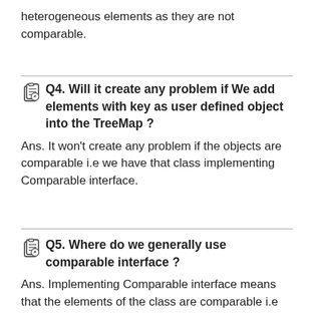heterogeneous elements as they are not comparable.
Q4. Will it create any problem if We add elements with key as user defined object into the TreeMap ?
Ans. It won't create any problem if the objects are comparable i.e we have that class implementing Comparable interface.
Q5. Where do we generally use comparable interface ?
Ans. Implementing Comparable interface means that the elements of the class are comparable i.e the class